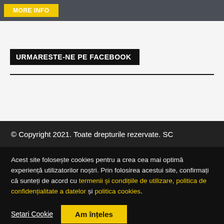MORE INFO
URMARESTE-NE PE FACEBOOK
© Copyright 2021. Toate drepturile rezervate. SC
Acest site folosește cookies pentru a crea cea mai optimă experiență utilizatorilor noștri. Prin folosirea acestui site, confirmați că sunteți de acord cu termenii și condițiile de utilizare, politica de confidențialitate a datelor și politica cookies.
Setari Cookie
Am înțeles